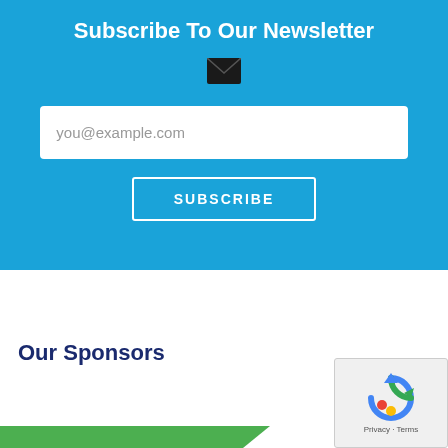Subscribe To Our Newsletter
[Figure (illustration): Envelope/email icon in dark color on blue background]
you@example.com
SUBSCRIBE
Our Sponsors
[Figure (logo): reCAPTCHA logo with circular arrows icon and 'Privacy - Terms' text]
[Figure (illustration): Green diagonal banner at bottom left]